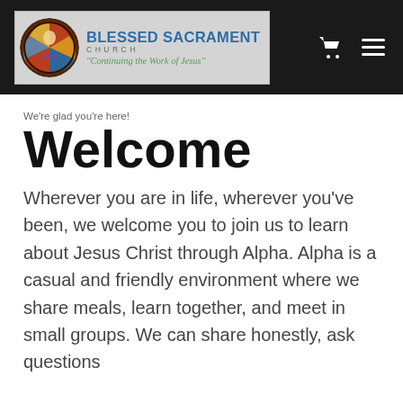BLESSED SACRAMENT CHURCH — Continuing the Work of Jesus
We're glad you're here!
Welcome
Wherever you are in life, wherever you've been, we welcome you to join us to learn about Jesus Christ through Alpha. Alpha is a casual and friendly environment where we share meals, learn together, and meet in small groups. We can share honestly, ask questions...